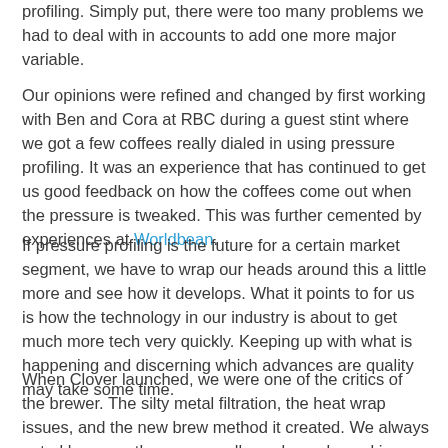profiling. Simply put, there were too many problems we had to deal with in accounts to add one more major variable.
Our opinions were refined and changed by first working with Ben and Cora at RBC during a guest stint where we got a few coffees really dialed in using pressure profiling. It was an experience that has continued to get us good feedback on how the coffees come out when the pressure is tweaked. This was further cemented by experiences at Worldbean.
If pressure profiling is the future for a certain market segment, we have to wrap our heads around this a little more and see how it develops. What it points to for us is how the technology in our industry is about to get much more tech very quickly. Keeping up with what is happening and discerning which advances are quality may take some time.
When Clover launched, we were one of the critics of the brewer. The silty metal filtration, the heat wrap issues, and the new brew method it created. We always noted however they were really cool people working there but from a coffee standpoint, we didn't like it. Our opposition to the clover